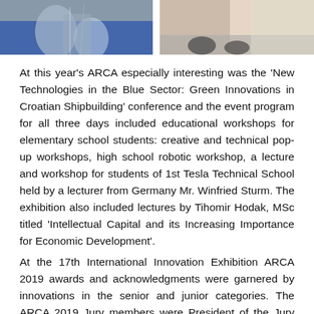[Figure (photo): Two photographs side by side showing people at an exhibition or event. Left photo shows a person in a blue environment with equipment. Right photo shows feet/legs near a bright window.]
At this year's ARCA especially interesting was the 'New Technologies in the Blue Sector: Green Innovations in Croatian Shipbuilding' conference and the event program for all three days included educational workshops for elementary school students: creative and technical pop-up workshops, high school robotic workshop, a lecture and workshop for students of 1st Tesla Technical School held by a lecturer from Germany Mr. Winfried Sturm. The exhibition also included lectures by Tihomir Hodak, MSc titled 'Intellectual Capital and its Increasing Importance for Economic Development'.
At the 17th International Innovation Exhibition ARCA 2019 awards and acknowledgments were garnered by innovations in the senior and junior categories. The ARCA 2019 Jury members were President of the Jury Zoran Barišić, Husein Huić, Ljiljana Markuš Cizelj, PhD, Rene Kajp, Krešimir Štih, Mihajlo Čizmić, Marčelo Marić and Zvonimir Vađon.
As many as 161 innovations entered the ARCA 2019, of which 35